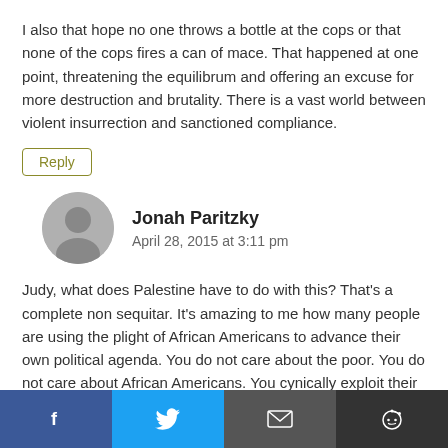I also that hope no one throws a bottle at the cops or that none of the cops fires a can of mace. That happened at one point, threatening the equilibrum and offering an excuse for more destruction and brutality. There is a vast world between violent insurrection and sanctioned compliance.
Reply
Jonah Paritzky
April 28, 2015 at 3:11 pm
Judy, what does Palestine have to do with this? That’s a complete non sequitar. It’s amazing to me how many people are using the plight of African Americans to advance their own political agenda. You do not care about the poor. You do not care about African Americans. You cynically exploit their struggle to score cheap points against some overseas “oppressor”. Stop waxing poetic about the
[Figure (infographic): Social share bar with Facebook, Twitter, Email, and Reddit buttons]